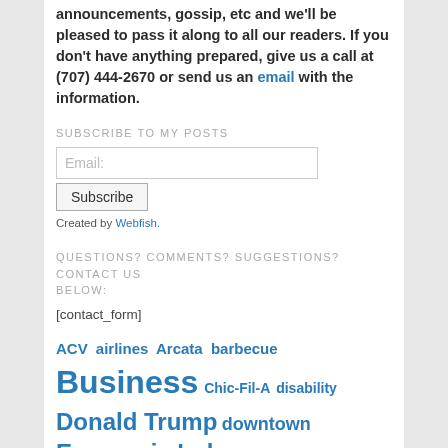announcements, gossip, etc and we'll be pleased to pass it along to all our readers. If you don't have anything prepared, give us a call at (707) 444-2670 or send us an email with the information.
SUBSCRIBE TO MY POSTS
Email: [input field] Subscribe
Created by Webfish.
QUESTIONS? COMMENTS? SUGGESTIONS? CONTACT US BELOW:
[contact_form]
ACV airlines Arcata barbecue Business Chic-Fil-A disability Donald Trump downtown Economic Index